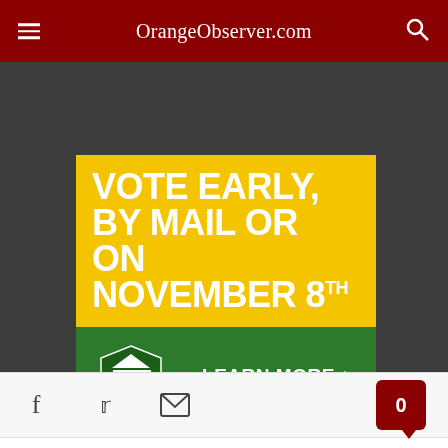OrangeObserver.com
[Figure (photo): Partially visible image strip below navigation bar showing photos]
[Figure (infographic): Yellow and green political advertisement reading: VOTE EARLY, BY MAIL OR ON NOVEMBER 8TH — LEARN MORE. West Orange Political Alliance logo. Paid political advertisement by the West Orange Political Alliance, Inc., 12184 W. Colonial Dr., Winter Garden, FL 34787]
[Figure (infographic): Social sharing bar with Facebook, Twitter, and email icons, plus a red comment badge showing 0]
After leading 13-0 in the second quarter, the Knights gave